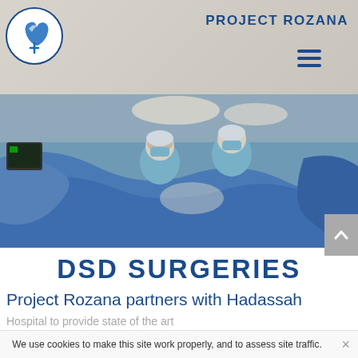[Figure (screenshot): Project Rozana website header with logo (circular blue hands/heart icon) on left, 'PROJECT ROZANA' text in dark blue on right, hamburger menu icon below the text, over a light beige background]
[Figure (photo): Surgical team in blue scrubs, masks, and caps performing an operation in an operating room with surgical drapes and bright overhead lights]
DSD SURGERIES
Project Rozana partners with Hadassah
Hospital to provide state of the art corrective surgeries associated with the
We use cookies to make this site work properly, and to assess site traffic.